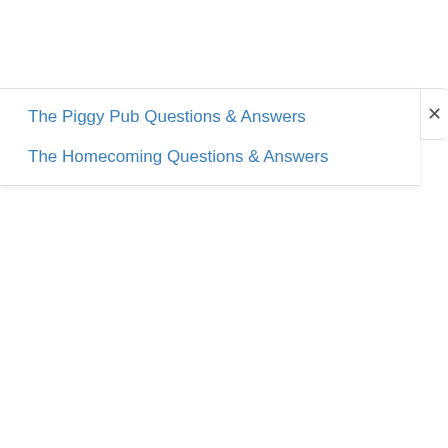The Piggy Pub Questions & Answers
The Homecoming Questions & Answers